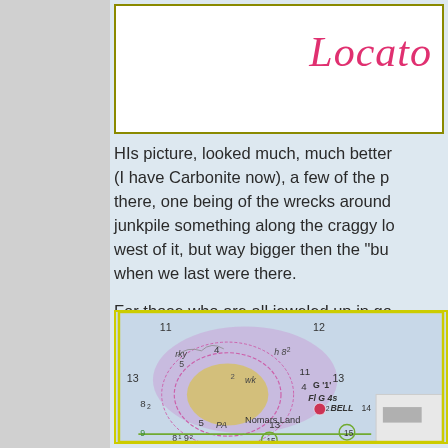[Figure (illustration): White header box with handwritten pink/red text reading 'Locato' (partially visible), bordered with olive/dark yellow border]
HIs picture, looked much, much better (I have Carbonite now), a few of the p there, one being of the wrecks around junkpile something along the craggy lo west of it, but way bigger then the "bu when we last were there.
For those who are all jeweled up in go around and trying to find the LG, much
[Figure (map): Nautical chart showing Nomars Land area with depth soundings (numbers like 11, 12, 13, 4, 5, 8, etc.), navigation markers including FI G 4s, BELL 14, G '1', rky (rocky), wk (wreck), PA markings, contour lines in purple/pink, land mass in yellow-tan, water depths. Numbers 11, 12, 13, 8, 4, 5, 9, 2, 5, 13, 15, 8, 9, 82 visible. Green line at bottom with circled 15.]